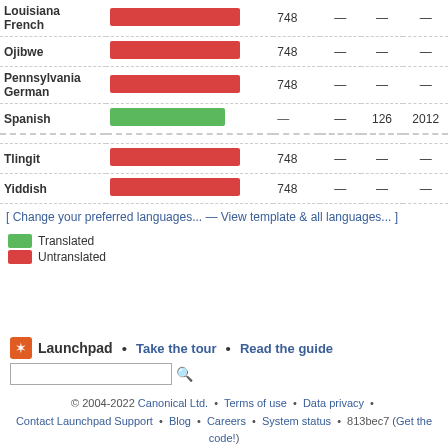| Language | Bar | Count |  |  |  |
| --- | --- | --- | --- | --- | --- |
| Louisiana French | 748(red) | 748 | — | — | — |
| Ojibwe | 748(red) | 748 | — | — | — |
| Pennsylvania German | 748(red) | 748 | — | — | — |
| Spanish | (green bar) | — | — | 126 | 2012 |
| Tlingit | 748(red) | 748 | — | — | — |
| Yiddish | 748(red) | 748 | — | — | — |
[ Change your preferred languages... — View template & all languages... ]
Translated
Untranslated
Launchpad • Take the tour • Read the guide
© 2004-2022 Canonical Ltd. • Terms of use • Data privacy • Contact Launchpad Support • Blog • Careers • System status • 813bec7 (Get the code!)